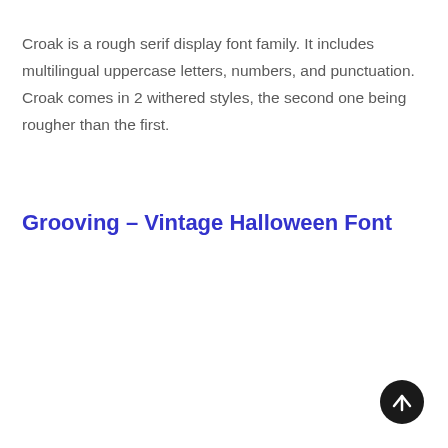Croak is a rough serif display font family. It includes multilingual uppercase letters, numbers, and punctuation. Croak comes in 2 withered styles, the second one being rougher than the first.
Grooving – Vintage Halloween Font